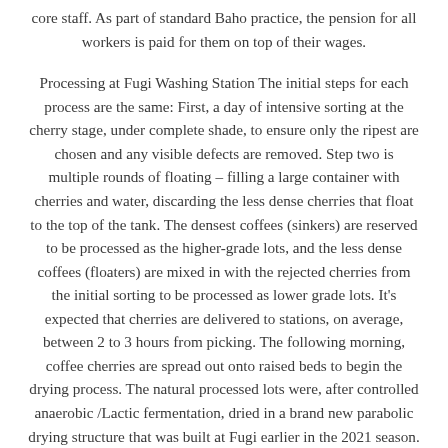core staff. As part of standard Baho practice, the pension for all workers is paid for them on top of their wages.
Processing at Fugi Washing Station The initial steps for each process are the same: First, a day of intensive sorting at the cherry stage, under complete shade, to ensure only the ripest are chosen and any visible defects are removed. Step two is multiple rounds of floating – filling a large container with cherries and water, discarding the less dense cherries that float to the top of the tank. The densest coffees (sinkers) are reserved to be processed as the higher-grade lots, and the less dense coffees (floaters) are mixed in with the rejected cherries from the initial sorting to be processed as lower grade lots. It's expected that cherries are delivered to stations, on average, between 2 to 3 hours from picking. The following morning, coffee cherries are spread out onto raised beds to begin the drying process. The natural processed lots were, after controlled anaerobic /Lactic fermentation, dried in a brand new parabolic drying structure that was built at Fugi earlier in the 2021 season. Within this greenhouse, coffees are completely protected from rain and